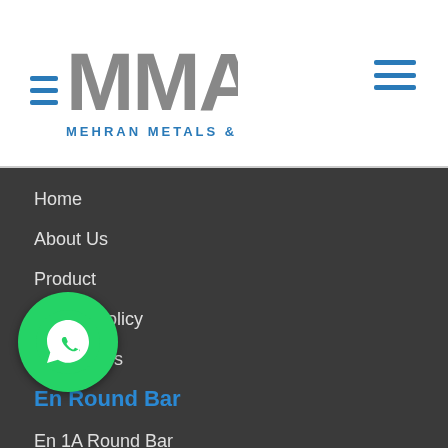[Figure (logo): MMA Mehran Metals & Alloys logo with hamburger menu icon]
Home
About Us
Product
Quality Policy
Contact Us
En Round Bar
En 1A Round Bar
En [?] Round Bar
En [?] Round Bar
En 8D Round Bar
[Figure (illustration): WhatsApp contact button - green circle with phone icon]